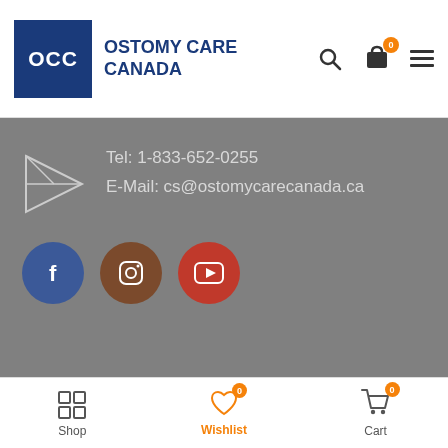OCC OSTOMY CARE CANADA
Tel: 1-833-652-0255
E-Mail: cs@ostomycarecanada.ca
[Figure (logo): Facebook, Instagram, YouTube social media circle icons]
Copyright 2021 © Ostomycarecanada | All Rights Reserved
Shop  Wishlist  Cart